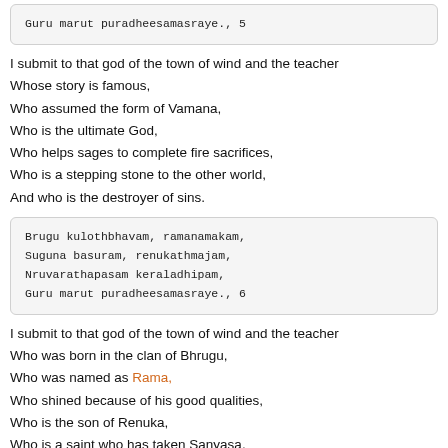Guru marut puradheesamasraye., 5
I submit to that god of the town of wind and the teacher
Whose story is famous,
Who assumed the form of Vamana,
Who is the ultimate God,
Who helps sages to complete fire sacrifices,
Who is a stepping stone to the other world,
And who is the destroyer of sins.
Brugu kulothbhavam, ramanamakam,
Suguna basuram, renukathmajam,
Nruvarathapasam keraladhipam,
Guru marut puradheesamasraye., 6
I submit to that god of the town of wind and the teacher
Who was born in the clan of Bhrugu,
Who was named as Rama,
Who shined because of his good qualities,
Who is the son of Renuka,
Who is a saint who has taken Sanyasa,
And who is the Lord of Kerala.